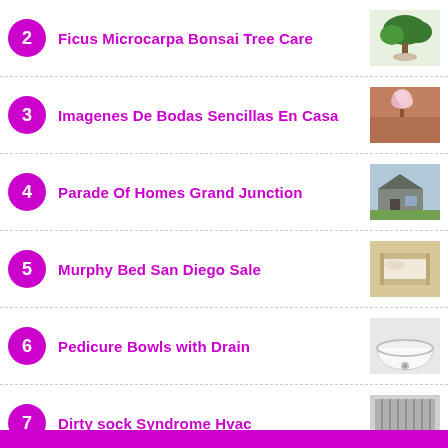2 Ficus Microcarpa Bonsai Tree Care
3 Imagenes De Bodas Sencillas En Casa
4 Parade Of Homes Grand Junction
5 Murphy Bed San Diego Sale
6 Pedicure Bowls with Drain
7 Dirty sock Syndrome Hvac